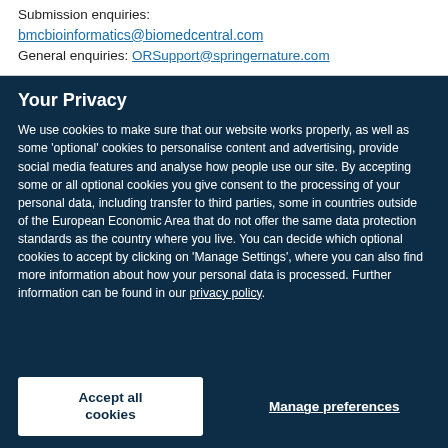Submission enquiries:
bmcbioinformatics@biomedcentral.com
General enquiries: ORSupport@springernature.com
Your Privacy
We use cookies to make sure that our website works properly, as well as some 'optional' cookies to personalise content and advertising, provide social media features and analyse how people use our site. By accepting some or all optional cookies you give consent to the processing of your personal data, including transfer to third parties, some in countries outside of the European Economic Area that do not offer the same data protection standards as the country where you live. You can decide which optional cookies to accept by clicking on 'Manage Settings', where you can also find more information about how your personal data is processed. Further information can be found in our privacy policy.
Accept all cookies
Manage preferences